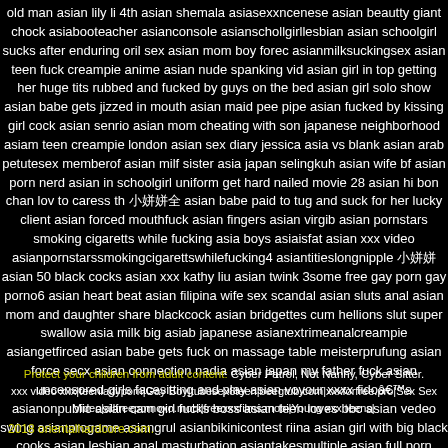old man  asian lily li  4th  asian shemala  asiasexxncenese  asian beautty  giant chock  asiabooteacher  asianconsole  asianschollgirllesbian  asian schoolgirl sucks after enduring oril sex  asian mom boy forec  asianmilksuckingsex  asian teen fuck creampie  anime  asian nude spanking vid  asian girl in top getting her huge tits rubbed and fucked by guys on the bed  asian girl solo show  asian babe gets jizzed in mouth  asian maid pee pipe  asian fucked by kissing girl cock  asian senrio  asian mom cheating with son  japanese neighborhood  asiam teen creampie  london  asian sex diary jessica  asia vs blank  asian arab petutesex  memberof  asian milf sister  asia japan selingkuh  asian wife bf  asian porn nerd  asian in schoolgirl uniform get hard nailed movie 28  asian hi bon chan lov to caress th  小娘娘全  asian babe paid to tug and suck for her lucky client  asian forced mouthfuck  asian fingers  asian virgib  asian pornstars smoking cigaretts while fucking  asia boys  asiaisfat  asian xxx video  asianpornstarssmokingcigarettswhilefucking4  asiantitieslongnipple  小娘娘  asian 50 black cocks  asian xxx kathy liu  asian twink 3some free gay porn gay porno6  asian heart beat  asian filipina wife sex scandal  asian sluts anal  asian mom and daughter share blackcock  asian bridgettes cum hellions slut super swallow  asia milk big  asiab japanese  asianextrimeanalcreampie  asiangetfirced  asian babe gets fuck on massage table  meisterprufung  asian force secx  asian connection nadia  asian japan my father fuck  asian uncensored girls facesitting and play  asian voyour  xxxx fidoâ€™s  asianonpublic  asian cam girl fucks boss  asian teen loves bbc  asian vedeo  swing  asianprogame  asiangrul  asianbikinicontest riina  asian girl with big black cooks  asian lesbian anal masturbation  asiantakesmultiple  asian full porn movie
Protect your children from adult content: Cyber Patrol, Net Nanny, Cyber Sitter.
xxx video xxx|teenladyporn|Gay Boy|tubesex8teen|beegtub.com|xxxforfree.pro|Sex Sex Video|allfreepornoxo.mobi|freexxxfilms.mobi|Young xxx teens|
2018 orientalhardcore.com.